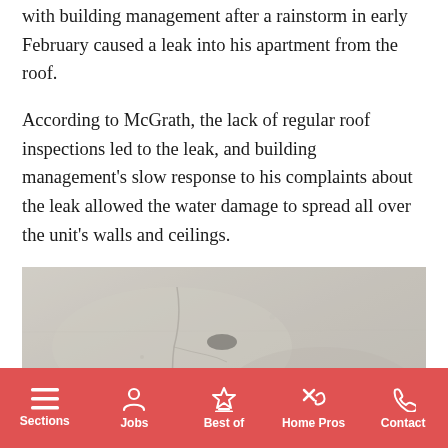with building management after a rainstorm in early February caused a leak into his apartment from the roof.
According to McGrath, the lack of regular roof inspections led to the leak, and building management's slow response to his complaints about the leak allowed the water damage to spread all over the unit's walls and ceilings.
[Figure (photo): Close-up photograph of a damaged wall or ceiling surface showing water damage, cracks, and staining on a light beige/gray plaster surface.]
Sections | Jobs | Best of | Home Pros | Contact